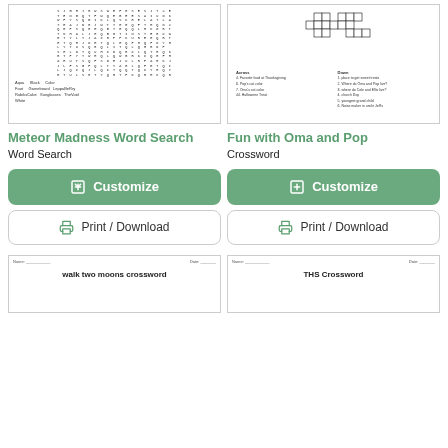[Figure (illustration): Meteor Madness word search puzzle preview showing a letter grid and word list below]
[Figure (illustration): Fun with Oma and Pop crossword puzzle preview showing a crossword grid and clues]
Meteor Madness Word Search
Word Search
Fun with Oma and Pop
Crossword
Customize
Print / Download
Customize
Print / Download
[Figure (illustration): walk two moons crossword puzzle preview]
[Figure (illustration): THS Crossword puzzle preview]